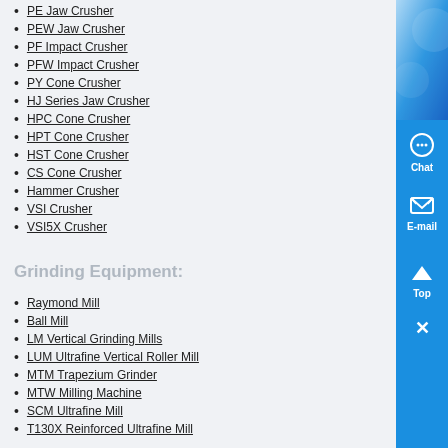PE Jaw Crusher
PEW Jaw Crusher
PF Impact Crusher
PFW Impact Crusher
PY Cone Crusher
HJ Series Jaw Crusher
HPC Cone Crusher
HPT Cone Crusher
HST Cone Crusher
CS Cone Crusher
Hammer Crusher
VSI Crusher
VSI5X Crusher
Grinding Equipment:
Raymond Mill
Ball Mill
LM Vertical Grinding Mills
LUM Ultrafine Vertical Roller Mill
MTM Trapezium Grinder
MTW Milling Machine
SCM Ultrafine Mill
T130X Reinforced Ultrafine Mill